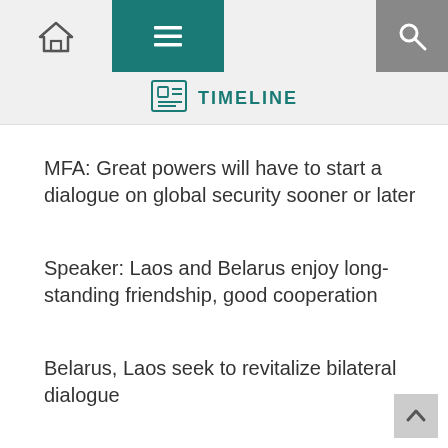TIMELINE
MFA: Great powers will have to start a dialogue on global security sooner or later
Speaker: Laos and Belarus enjoy long-standing friendship, good cooperation
Belarus, Laos seek to revitalize bilateral dialogue
Andreichenko: Belarus and Laos stand for peaceful, unifying, constructive agenda